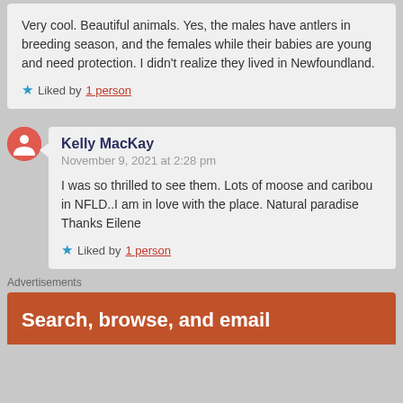Very cool. Beautiful animals. Yes, the males have antlers in breeding season, and the females while their babies are young and need protection. I didn't realize they lived in Newfoundland.
★ Liked by 1 person
Kelly MacKay
November 9, 2021 at 2:28 pm
I was so thrilled to see them. Lots of moose and caribou in NFLD..I am in love with the place. Natural paradise Thanks Eilene
★ Liked by 1 person
Advertisements
Search, browse, and email